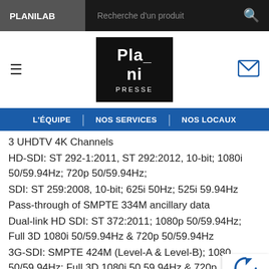PLANILAB | Recherche d'un produit
[Figure (logo): Plani Presse logo - black square with white bold text showing Pla / ni / PRESSE]
L'ÉQUIPE | NOS SERVICES | NOS LOCAUX
3 UHDTV 4K Channels
HD-SDI: ST 292-1:2011, ST 292:2012, 10-bit; 1080i 50/59.94Hz; 720p 50/59.94Hz;
SDI: ST 259:2008, 10-bit; 625i 50Hz; 525i 59.94Hz
Pass-through of SMPTE 334M ancillary data
Dual-link HD SDI: ST 372:2011; 1080p 50/59.94Hz; Full 3D 1080i 50/59.94Hz & 720p 50/59.94Hz
3G-SDI: SMPTE 424M (Level-A & Level-B); 1080p 50/59.94Hz; Full 3D 1080i 50.59.94Hz & 720p 50/59.94Hz